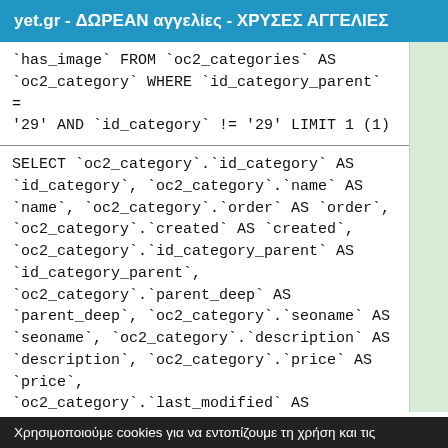yet.gr - ΔΩΡΕΑΝ αγγελίες - ΧΡΥΣΕΣ ΑΓΓΕΛΙΕΣ
`has_image` FROM `oc2_categories` AS `oc2_category` WHERE `id_category_parent` = '29' AND `id_category` != '29' LIMIT 1 (1)
SELECT `oc2_category`.`id_category` AS `id_category`, `oc2_category`.`name` AS `name`, `oc2_category`.`order` AS `order`, `oc2_category`.`created` AS `created`, `oc2_category`.`id_category_parent` AS `id_category_parent`, `oc2_category`.`parent_deep` AS `parent_deep`, `oc2_category`.`seoname` AS `seoname`, `oc2_category`.`description` AS `description`, `oc2_category`.`price` AS `price`, `oc2_category`.`last_modified` AS `last_modified`, `oc2_category`.`has_image` AS `has_image` FROM `oc2_categories` AS
Χρησιμοποιούμε cookies για να εντοπίζουμε τη χρήση και τις